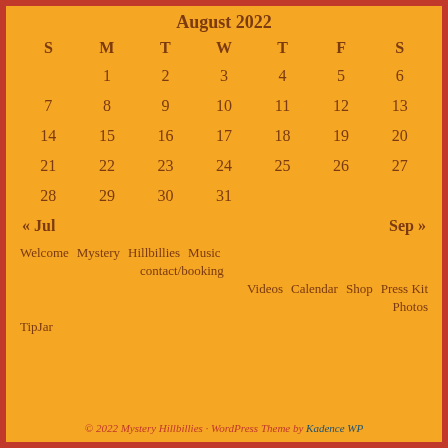August 2022
| S | M | T | W | T | F | S |
| --- | --- | --- | --- | --- | --- | --- |
|  | 1 | 2 | 3 | 4 | 5 | 6 |
| 7 | 8 | 9 | 10 | 11 | 12 | 13 |
| 14 | 15 | 16 | 17 | 18 | 19 | 20 |
| 21 | 22 | 23 | 24 | 25 | 26 | 27 |
| 28 | 29 | 30 | 31 |  |  |  |
« Jul    Sep »
Welcome  Mystery  Hillbillies  Music  contact/booking
Videos  Calendar  Shop  Press Kit
Photos
TipJar
© 2022 Mystery Hillbillies · WordPress Theme by Kadence WP